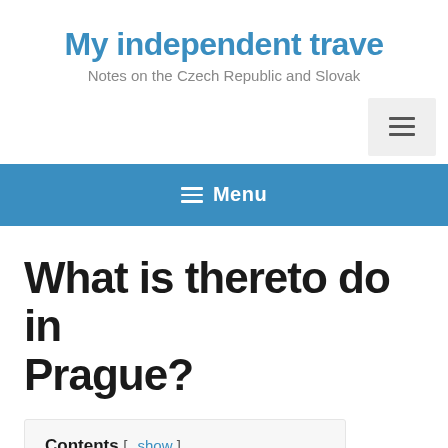My independent trave
Notes on the Czech Republic and Slovak
[Figure (other): Hamburger menu toggle button (three horizontal lines icon) in a light grey box, positioned in the top right area]
≡ Menu
What is thereto do in Prague?
Contents [ show ]